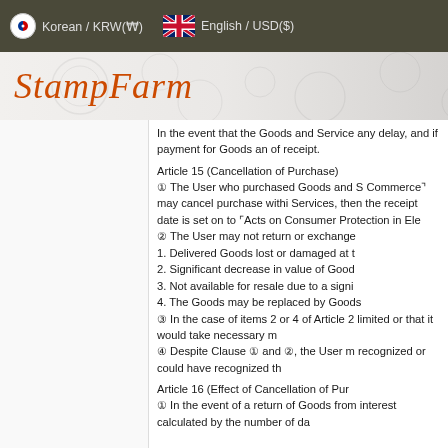Korean / KRW(₩)   English / USD($)
[Figure (logo): StampFarm website logo in italic orange text on a patterned banner background]
In the event that the Goods and Service any delay, and if payment for Goods an of receipt.
Article 15 (Cancellation of Purchase)
① The User who purchased Goods and S Commerce⌝ may cancel purchase withi Services, then the receipt date is set on to ⌜Acts on Consumer Protection in Ele ② The User may not return or exchange 1. Delivered Goods lost or damaged at t 2. Significant decrease in value of Good 3. Not available for resale due to a signi 4. The Goods may be replaced by Goods ③ In the case of items 2 or 4 of Article 2 limited or that it would take necessary m ④ Despite Clause ① and ②, the User m recognized or could have recognized th
Article 16 (Effect of Cancellation of Pur
① In the event of a return of Goods from interest calculated by the number of da